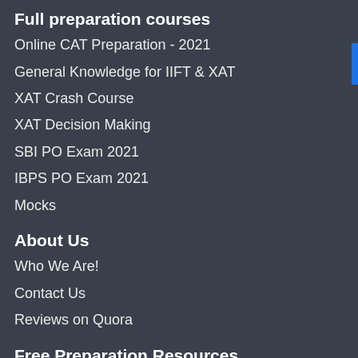Full preparation courses
Online CAT Preparation - 2021
General Knowledge for IIFT & XAT
XAT Crash Course
XAT Decision Making
SBI PO Exam 2021
IBPS PO Exam 2021
Mocks
About Us
Who We Are!
Contact Us
Reviews on Quora
Free Preparation Resources
Blog
Demo Videos
CAT Syllabus
Best Books for CAT